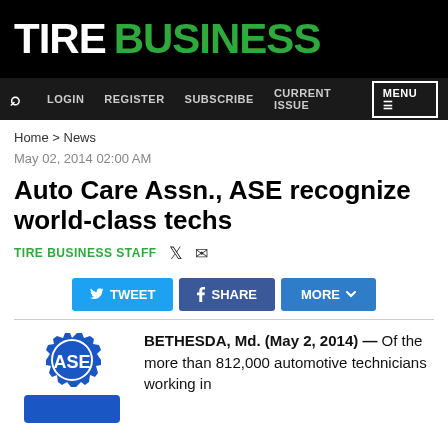Tire Business
LOGIN   REGISTER   SUBSCRIBE   CURRENT ISSUE   MENU
Home > News
May 02, 2014 02:00 AM
Auto Care Assn., ASE recognize world-class techs
TIRE BUSINESS STAFF
TWEET   SHARE   MORE
[Figure (logo): ASE logo — blue gear shape with 'ASE' letters in white]
BETHESDA, Md. (May 2, 2014) — Of the more than 812,000 automotive technicians working in